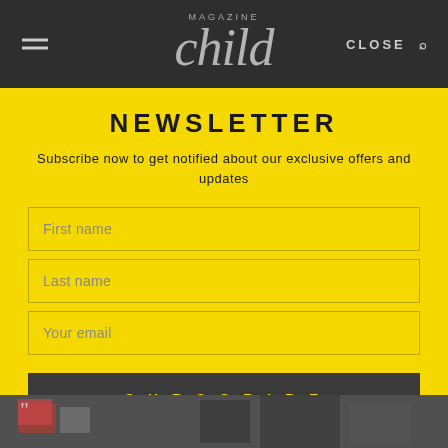child magazine — CLOSE
NEWSLETTER
Subscribe now to get notified about our exclusive offers and updates
First name
Last name
Your email
SUBSCRIBE
[Figure (photo): Background photo of children or magazine content at bottom of overlay]